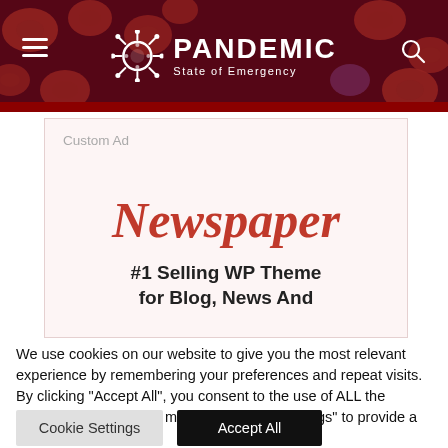PANDEMIC State of Emergency
Custom Ad
Newspaper
#1 Selling WP Theme for Blog, News And
We use cookies on our website to give you the most relevant experience by remembering your preferences and repeat visits. By clicking "Accept All", you consent to the use of ALL the cookies. However, you may visit "Cookie Settings" to provide a controlled consent.
Cookie Settings  Accept All